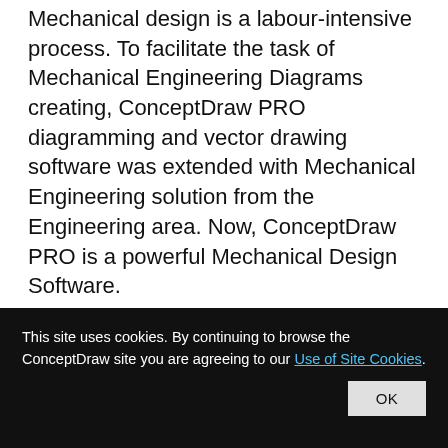Mechanical design is a labour-intensive process. To facilitate the task of Mechanical Engineering Diagrams creating, ConceptDraw PRO diagramming and vector drawing software was extended with Mechanical Engineering solution from the Engineering area. Now, ConceptDraw PRO is a powerful Mechanical Design Software.
Mechanical Engineering
This site uses cookies. By continuing to browse the ConceptDraw site you are agreeing to our Use of Site Cookies.